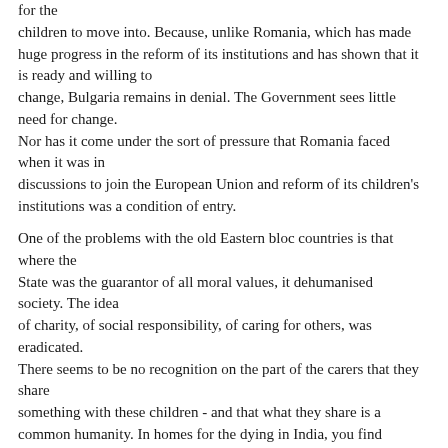for the children to move into. Because, unlike Romania, which has made huge progress in the reform of its institutions and has shown that it is ready and willing to change, Bulgaria remains in denial. The Government sees little need for change. Nor has it come under the sort of pressure that Romania faced when it was in discussions to join the European Union and reform of its children's institutions was a condition of entry.
One of the problems with the old Eastern bloc countries is that where the State was the guarantor of all moral values, it dehumanised society. The idea of charity, of social responsibility, of caring for others, was eradicated. There seems to be no recognition on the part of the carers that they share something with these children - and that what they share is a common humanity. In homes for the dying in India, you find